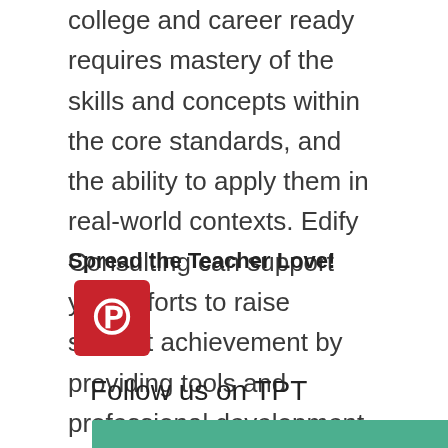college and career ready requires mastery of the skills and concepts within the core standards, and the ability to apply them in real-world contexts. Edify Consulting can support your efforts to raise student achievement by providing tools and professional development for the master educator.
Spread the Teacher Love!
[Figure (logo): Pinterest logo icon — white 'P' on red square background]
Follow us on TPT
[Figure (other): Green/teal horizontal bar at bottom of page]